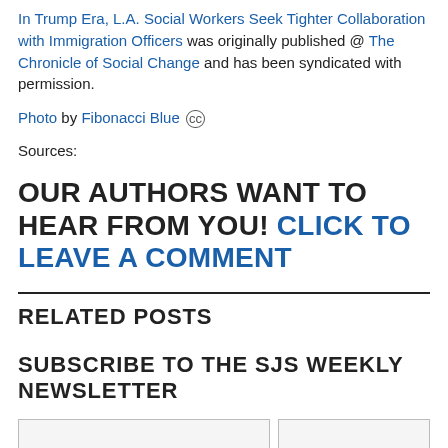In Trump Era, L.A. Social Workers Seek Tighter Collaboration with Immigration Officers was originally published @ The Chronicle of Social Change and has been syndicated with permission.
Photo by Fibonacci Blue (cc)
Sources:
OUR AUTHORS WANT TO HEAR FROM YOU! CLICK TO LEAVE A COMMENT
RELATED POSTS
SUBSCRIBE TO THE SJS WEEKLY NEWSLETTER